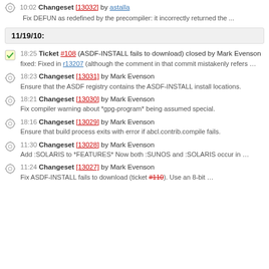10:02 Changeset [13032] by astalla — Fix DEFUN as redefined by the precompiler: it incorrectly returned the ...
11/19/10:
18:25 Ticket #108 (ASDF-INSTALL fails to download) closed by Mark Evenson — fixed: Fixed in r13207 (although the comment in that commit mistakenly refers ...
18:23 Changeset [13031] by Mark Evenson — Ensure that the ASDF registry contains the ASDF-INSTALL install locations.
18:21 Changeset [13030] by Mark Evenson — Fix compiler warning about *gpg-program* being assumed special.
18:16 Changeset [13029] by Mark Evenson — Ensure that build process exits with error if abcl.contrib.compile fails.
11:30 Changeset [13028] by Mark Evenson — Add :SOLARIS to *FEATURES* Now both :SUNOS and :SOLARIS occur in ...
11:24 Changeset [13027] by Mark Evenson — Fix ASDF-INSTALL fails to download (ticket #110). Use an 8-bit ...